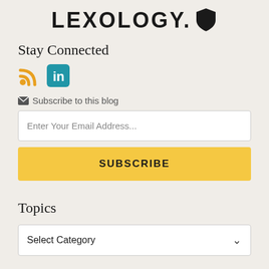LEXOLOGY.
Stay Connected
[Figure (logo): RSS feed icon (orange) and LinkedIn icon (blue rounded square)]
Subscribe to this blog
Enter Your Email Address...
SUBSCRIBE
Topics
Select Category